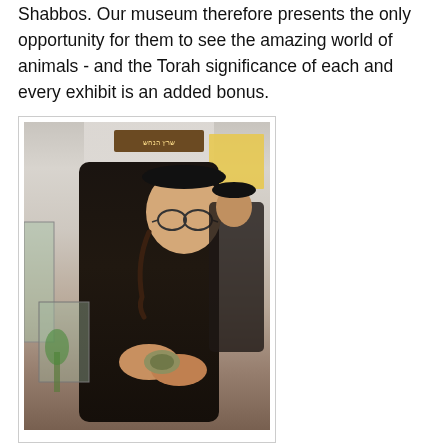Shabbos. Our museum therefore presents the only opportunity for them to see the amazing world of animals - and the Torah significance of each and every exhibit is an added bonus.
[Figure (photo): A young chassidic man wearing a black coat and peyos, looking down and smiling while holding a small turtle or tortoise in his hands. Behind him is another man in black. In the background are display cases and signs in Hebrew.]
Unfortunately, we really don't get many chassidic visitors. In general, very, very few of our visitors are charedi, and even less are chassidic. With